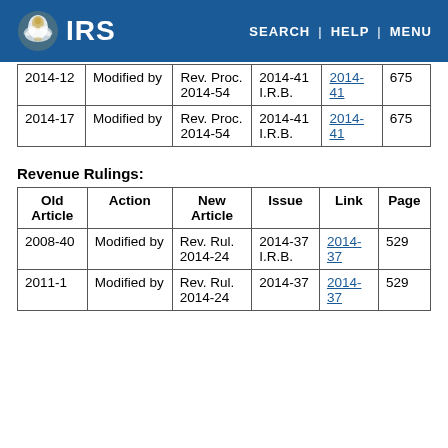IRS | SEARCH | HELP | MENU
| 2014-12 | Modified by | Rev. Proc. 2014-54 | 2014-41 I.R.B. | 2014-41 | 675 |
| 2014-17 | Modified by | Rev. Proc. 2014-54 | 2014-41 I.R.B. | 2014-41 | 675 |
Revenue Rulings:
| Old Article | Action | New Article | Issue | Link | Page |
| --- | --- | --- | --- | --- | --- |
| 2008-40 | Modified by | Rev. Rul. 2014-24 | 2014-37 I.R.B. | 2014-37 | 529 |
| 2011-1 | Modified by | Rev. Rul. 2014-24 | 2014-37 | 2014-37 | 529 |